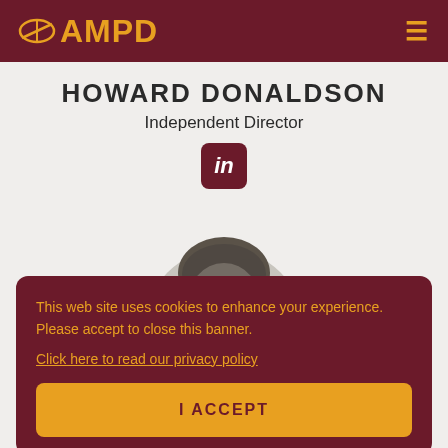AMPD
HOWARD DONALDSON
Independent Director
[Figure (logo): LinkedIn icon — rounded square with 'in' text in white on dark red background]
[Figure (photo): Circular cropped black and white headshot photo of Howard Donaldson, showing top of head and hair against light gray background]
This web site uses cookies to enhance your experience. Please accept to close this banner.
Click here to read our privacy policy
I ACCEPT
MARKUS WINDELEN